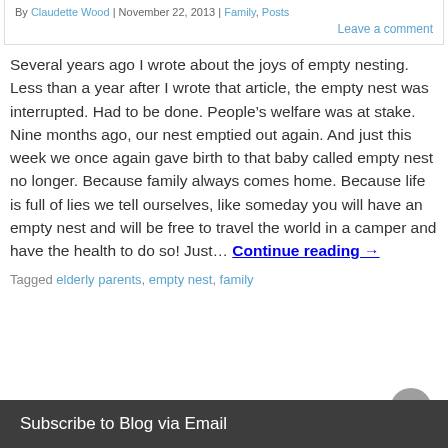By Claudette Wood | November 22, 2013 | Family, Posts
Leave a comment
Several years ago I wrote about the joys of empty nesting. Less than a year after I wrote that article, the empty nest was interrupted. Had to be done. People's welfare was at stake. Nine months ago, our nest emptied out again. And just this week we once again gave birth to that baby called empty nest no longer. Because family always comes home. Because life is full of lies we tell ourselves, like someday you will have an empty nest and will be free to travel the world in a camper and have the health to do so! Just… Continue reading →
Tagged elderly parents, empty nest, family
Subscribe to Blog via Email